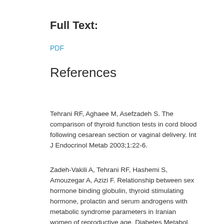Full Text:
PDF
References
Tehrani RF, Aghaee M, Asefzadeh S. The comparison of thyroid function tests in cord blood following cesarean section or vaginal delivery. Int J Endocrinol Metab 2003;1:22-6.
Zadeh-Vakili A, Tehrani RF, Hashemi S, Amouzegar A, Azizi F. Relationship between sex hormone binding globulin, thyroid stimulating hormone, prolactin and serum androgens with metabolic syndrome parameters in Iranian women of reproductive age. Diabetes Metabol. 2012:1-5.
Stagnaro-Green A, Abalovich M, Alexander E, Azizi F, Mestman J, Negro R, et al. Guidelines of the American Thyroid Association for the